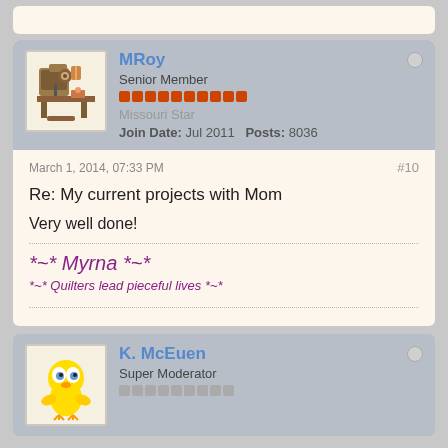[Figure (screenshot): Partial top of a previous forum post (cropped)]
[Figure (illustration): Avatar image of a pixel-art sewing machine]
MRoy
Senior Member
Missouri Star
Join Date: Jul 2011    Posts: 8036
March 1, 2014, 07:33 PM
#10
Re: My current projects with Mom
Very well done!
*~* Myrna *~*
*~* Quilters lead pieceful lives *~*
[Figure (illustration): Avatar image of Tweety Bird cartoon character]
K. McEuen
Super Moderator